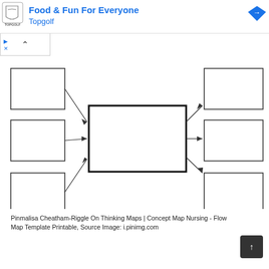[Figure (screenshot): Topgolf advertisement banner with logo, title 'Food & Fun For Everyone', subtitle 'Topgolf', and navigation icons]
[Figure (flowchart): Concept map / flow map template with a large central rectangle connected by arrows to three smaller rectangles on the left and three smaller rectangles on the right]
Pinmalisa Cheatham-Riggle On Thinking Maps | Concept Map Nursing - Flow Map Template Printable, Source Image: i.pinimg.com